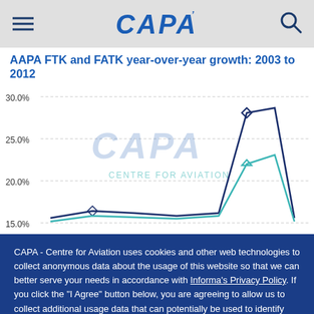CAPA
AAPA FTK and FATK year-over-year growth: 2003 to 2012
[Figure (continuous-plot): Line chart showing AAPA FTK and FATK year-over-year growth from 2003 to 2012. Y-axis shows percentages from approximately 15% to 30%. Two lines visible (dark navy and teal/cyan). CAPA Centre for Aviation watermark overlaid on chart. Chart is partially obscured by cookie consent overlay.]
CAPA - Centre for Aviation uses cookies and other web technologies to collect anonymous data about the usage of this website so that we can better serve your needs in accordance with Informa's Privacy Policy. If you click the "I Agree" button below, you are agreeing to allow us to collect additional usage data that can potentially be used to identify you. If you'd like more information on this data, what we do with it, and more granular controls, please take a look at our Privacy Settings.